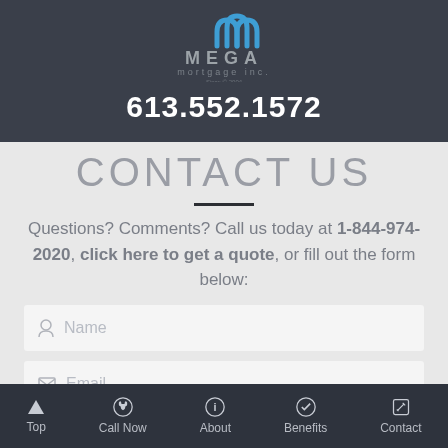[Figure (logo): MEGA Mortgage Inc. logo with blue arch icon and grey lettermark text]
613.552.1572
CONTACT US
Questions? Comments? Call us today at 1-844-974-2020, click here to get a quote, or fill out the form below:
Name
Email
Top  Call Now  About  Benefits  Contact